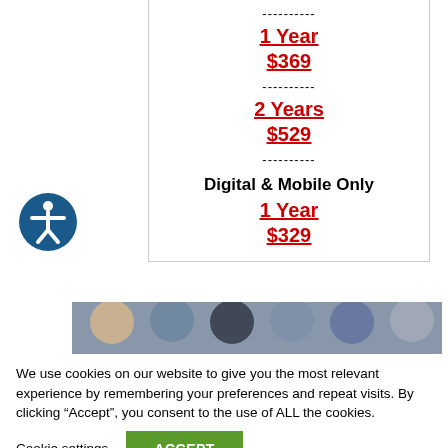----------
1 Year
$369
----------
2 Years
$529
----------
Digital & Mobile Only
1 Year
$329
[Figure (photo): Partial view of people's heads/shoulders, cropped photo strip]
We use cookies on our website to give you the most relevant experience by remembering your preferences and repeat visits. By clicking “Accept”, you consent to the use of ALL the cookies.
Cookie settings
ACCEPT